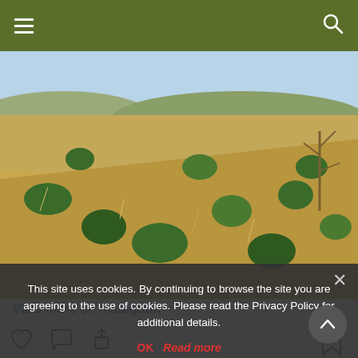Navigation header with hamburger menu and search icon
[Figure (photo): Landscape photo of arid scrubland with green shrubs and dry grass under blue sky]
View more on Instagram
[Figure (infographic): Instagram interaction icons: heart (like), comment bubble, share/upload arrow, and bookmark]
56 likes
pmagsco
This site uses cookies. By continuing to browse the site you are agreeing to the use of cookies. Please read the Privacy Policy for additional details.
OK   Read more